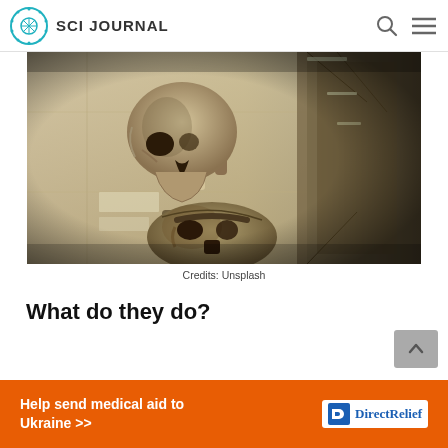SCI JOURNAL
[Figure (photo): Museum display showing two human skulls mounted on stands in a museum corridor with display cases in the background.]
Credits: Unsplash
What do they do?
[Figure (infographic): Orange advertisement banner: 'Help send medical aid to Ukraine >>' with Direct Relief logo on the right.]